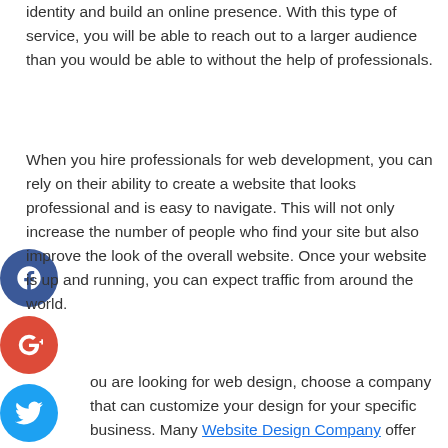identity and build an online presence. With this type of service, you will be able to reach out to a larger audience than you would be able to without the help of professionals.
When you hire professionals for web development, you can rely on their ability to create a website that looks professional and is easy to navigate. This will not only increase the number of people who find your site but also improve the look of the overall website. Once your website is up and running, you can expect traffic from around the world.
If you are looking for web design, choose a company that can customize your design for your specific business. Many Website Design Company offer custom logos, color schemes, design, and placement options. Some companies even offer shopping carts for easy checkout.